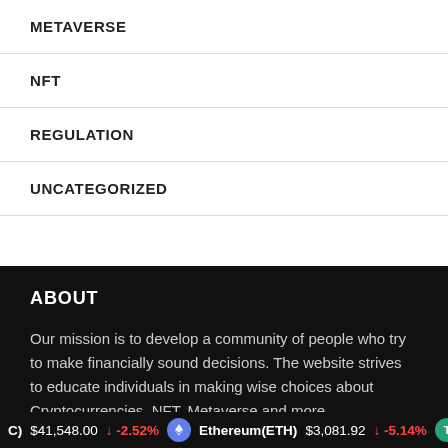METAVERSE
NFT
REGULATION
UNCATEGORIZED
ABOUT
Our mission is to develop a community of people who try to make financially sound decisions. The website strives to educate individuals in making wise choices about Cryptocurrencies, NFT, Metaverse and more.
CATEGORIES
C) $41,548.00 ↓ -2.52%   Ethereum(ETH) $3,081.92 ↓ -5.14%